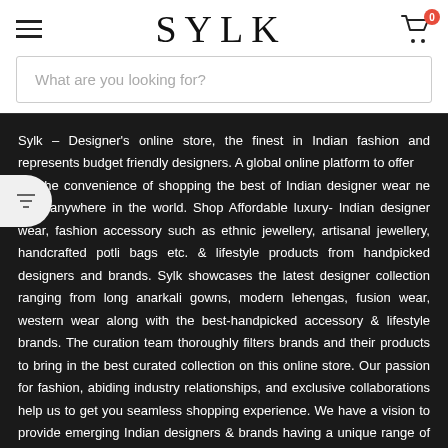SYLK
What are you looking for?
Sylk – Designer's online store, the finest in Indian fashion and represents budget friendly designers. A global online platform to offer nts the convenience of shopping the best of Indian designer wear ne from anywhere in the world. Shop Affordable luxury- Indian designer wear, fashion accessory such as ethnic jewellery, artisanal jewellery, handcrafted potli bags etc. & lifestyle products from handpicked designers and brands. Sylk showcases the latest designer collection ranging from long anarkali gowns, modern lehengas, fusion wear, western wear along with the best-handpicked accessory & lifestyle brands. The curation team thoroughly filters brands and their products to bring in the best curated collection on this online store. Our passion for fashion, abiding industry relationships, and exclusive collaborations help us to get you seamless shopping experience. We have a vision to provide emerging Indian designers & brands having a unique range of products, a global presence and marketplace. Thus